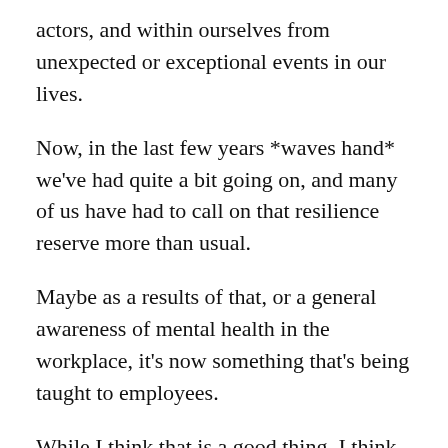actors, and within ourselves from unexpected or exceptional events in our lives.
Now, in the last few years *waves hand* we've had quite a bit going on, and many of us have had to call on that resilience reserve more than usual.
Maybe as a results of that, or a general awareness of mental health in the workplace, it's now something that's being taught to employees.
While I think that is a good thing, I think that has the perception to be weaponised.